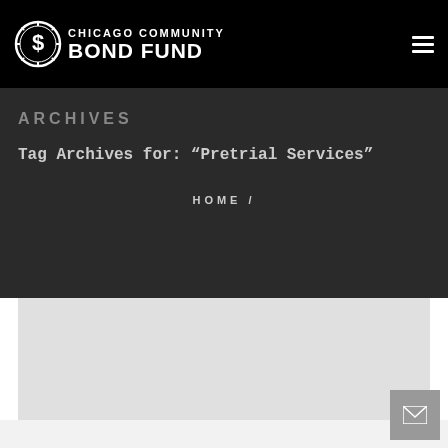CHICAGO COMMUNITY BOND FUND
ARCHIVES
Tag Archives for: “Pretrial Services”
HOME /
[Figure (other): Light gray placeholder content card area]